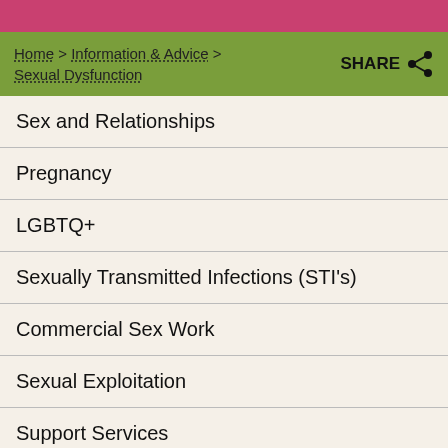Home > Information & Advice > Sexual Dysfunction | SHARE
Sex and Relationships
Pregnancy
LGBTQ+
Sexually Transmitted Infections (STI's)
Commercial Sex Work
Sexual Exploitation
Support Services
Non Sexually Transmitted Infections
Sexual Dysfunction